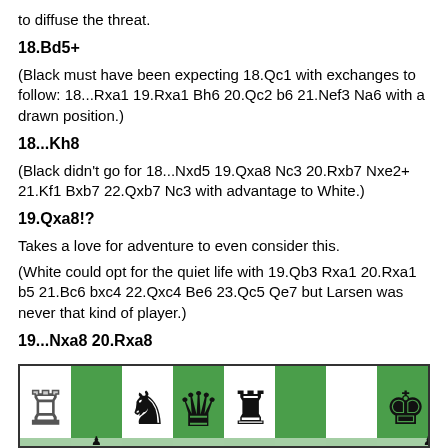to diffuse the threat.
18.Bd5+
(Black must have been expecting 18.Qc1 with exchanges to follow: 18...Rxa1 19.Rxa1 Bh6 20.Qc2 b6 21.Nef3 Na6 with a drawn position.)
18...Kh8
(Black didn't go for 18...Nxd5 19.Qxa8 Nc3 20.Rxb7 Nxe2+ 21.Kf1 Bxb7 22.Qxb7 Nc3 with advantage to White.)
19.Qxa8!?
Takes a love for adventure to even consider this.
(White could opt for the quiet life with 19.Qb3 Rxa1 20.Rxa1 b5 21.Bc6 bxc4 22.Qxc4 Be6 23.Qc5 Qe7 but Larsen was never that kind of player.)
19...Nxa8 20.Rxa8
[Figure (other): Chess board diagram showing a position after 19...Nxa8 20.Rxa8 with pieces visible including rooks, queen, king and pawns on a green and white checkered board.]